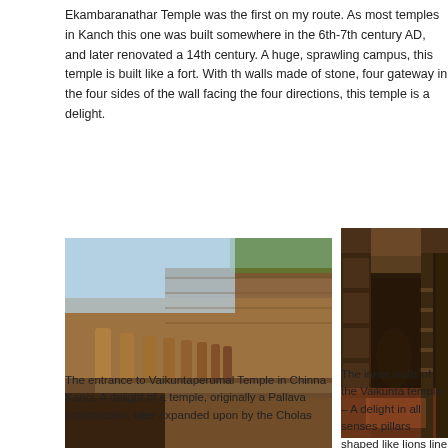Ekambaranathar Temple was the first on my route. As most temples in Kanch this one was built somewhere in the 6th-7th century AD, and later renovated a 14th century. A huge, sprawling campus, this temple is built like a fort. With th walls made of stone, four gateway in the four sides of the wall facing the four directions, this temple is a delight.
[Figure (photo): Entrance to Vaikuntaperumal Temple in Chinna Kanci showing a row of carved stone lion sculptures along a corridor with stone pillars under a clear blue sky.]
[Figure (photo): Inner walls of the Vaikunta temple showing a long corridor with pillars shaped like lions lined up symmetrically, with decorated walls, in dark ambient lighting.]
The entrance to Vaikuntaperumal Temple in Chinna Kanci. A delight of a temple, originally a Pallava construction, later expanded upon by the Cholas
The inner walls of the Vaikunta temple – A delight in all senses pillars shaped like lions line up symmetrically, reflecting sunligh One one side, walls decorated panels depicting scenes from d